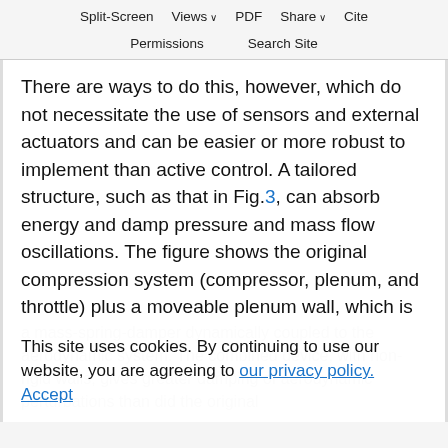Split-Screen  Views  PDF  Share  Cite
Permissions  Search Site
There are ways to do this, however, which do not necessitate the use of sensors and external actuators and can be easier or more robust to implement than active control. A tailored structure, such as that in Fig.3, can absorb energy and damp pressure and mass flow oscillations. The figure shows the original compression system (compressor, plenum, and throttle) plus a moveable plenum wall, which is
a mass-spring-damper dynamically coupled to the aerodynamic system. The combined device, with non-rigid walls, gives greater damping of aerodynamic perturbations than did the original
This site uses cookies. By continuing to use our website, you are agreeing to our privacy policy. Accept